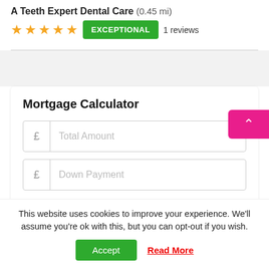A Teeth Expert Dental Care (0.45 mi)
★★★★★ EXCEPTIONAL 1 reviews
Mortgage Calculator
£ Total Amount
£ Down Payment
This website uses cookies to improve your experience. We'll assume you're ok with this, but you can opt-out if you wish.
Accept Read More